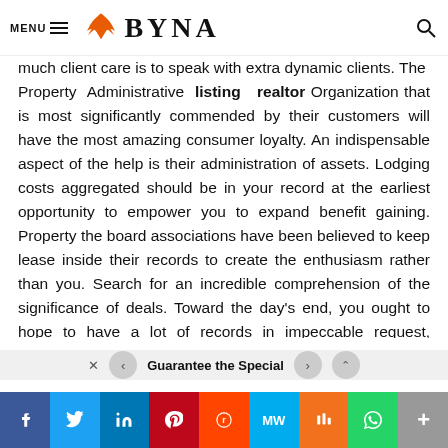MENU BYNA
much client care is to speak with extra dynamic clients. The Property Administrative listing realtor Organization that is most significantly commended by their customers will have the most amazing consumer loyalty. An indispensable aspect of the help is their administration of assets. Lodging costs aggregated should be in your record at the earliest opportunity to empower you to expand benefit gaining. Property the board associations have been believed to keep lease inside their records to create the enthusiasm rather than you. Search for an incredible comprehension of the significance of deals. Toward the day's end, you ought to hope to have a lot of records in impeccable request, permitting you to have zero troubles with
Guarantee the Special
f  Twitter  in  Pinterest  Reddit  MW  Mix  WhatsApp  More